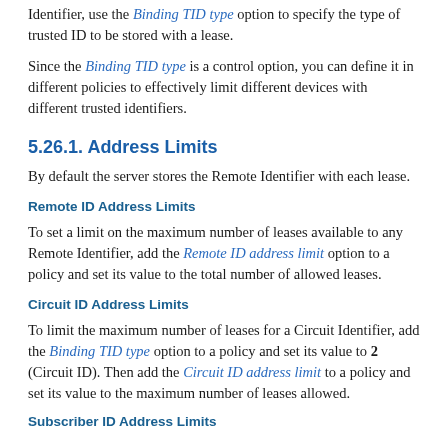Identifier, use the Binding TID type option to specify the type of trusted ID to be stored with a lease.
Since the Binding TID type is a control option, you can define it in different policies to effectively limit different devices with different trusted identifiers.
5.26.1. Address Limits
By default the server stores the Remote Identifier with each lease.
Remote ID Address Limits
To set a limit on the maximum number of leases available to any Remote Identifier, add the Remote ID address limit option to a policy and set its value to the total number of allowed leases.
Circuit ID Address Limits
To limit the maximum number of leases for a Circuit Identifier, add the Binding TID type option to a policy and set its value to 2 (Circuit ID). Then add the Circuit ID address limit to a policy and set its value to the maximum number of leases allowed.
Subscriber ID Address Limits